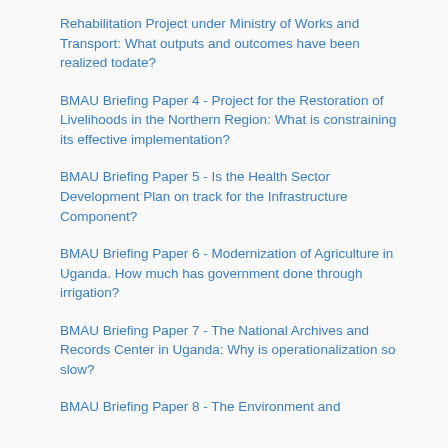Rehabilitation Project under Ministry of Works and Transport: What outputs and outcomes have been realized todate?
BMAU Briefing Paper 4 - Project for the Restoration of Livelihoods in the Northern Region: What is constraining its effective implementation?
BMAU Briefing Paper 5 - Is the Health Sector Development Plan on track for the Infrastructure Component?
BMAU Briefing Paper 6 - Modernization of Agriculture in Uganda. How much has government done through irrigation?
BMAU Briefing Paper 7 - The National Archives and Records Center in Uganda: Why is operationalization so slow?
BMAU Briefing Paper 8 - The Environment and